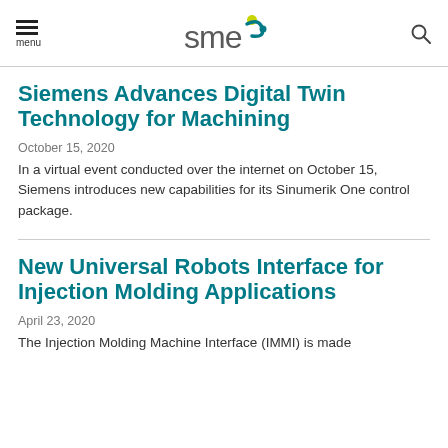menu | sme | [search]
Siemens Advances Digital Twin Technology for Machining
October 15, 2020
In a virtual event conducted over the internet on October 15, Siemens introduces new capabilities for its Sinumerik One control package.
New Universal Robots Interface for Injection Molding Applications
April 23, 2020
The Injection Molding Machine Interface (IMMI) is made